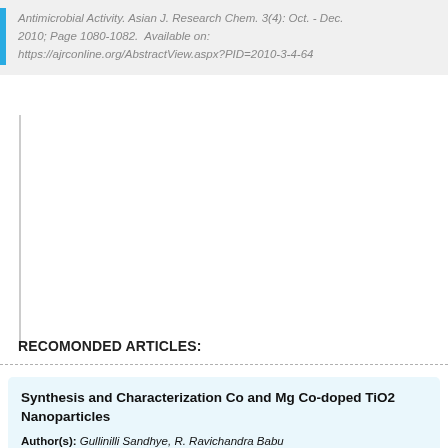Antimicrobial Activity. Asian J. Research Chem. 3(4): Oct. - Dec. 2010; Page 1080-1082.  Available on: https://ajrconline.org/AbstractView.aspx?PID=2010-3-4-64
RECOMONDED ARTICLES:
Synthesis and Characterization Co and Mg Co-doped TiO2 Nanoparticles
Author(s): Gullinilli Sandhye, R. Ravichandra Babu